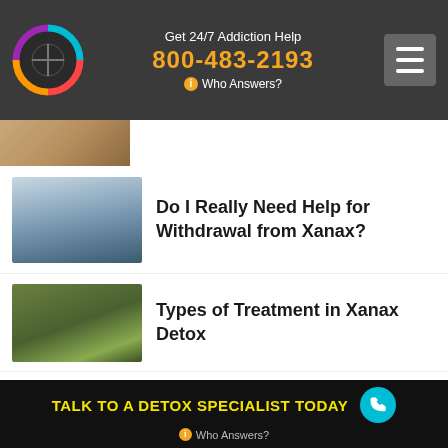Get 24/7 Addiction Help 800-483-2193 Who Answers?
[Figure (screenshot): Partial thumbnail of article at top]
Do I Really Need Help for Withdrawal from Xanax?
Types of Treatment in Xanax Detox
Important Considerations to Make When Detoxing from Xanax
How to Quit Xanax with the Help of a Detox Center
TALK TO A DETOX SPECIALIST TODAY Who Answers?